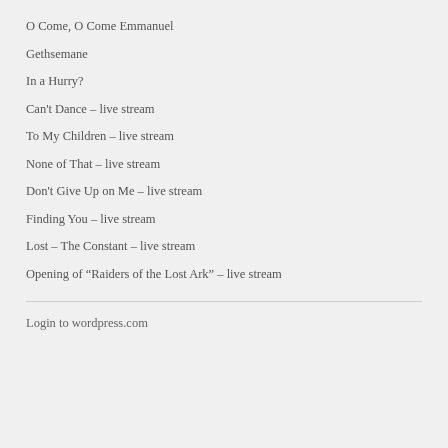O Come, O Come Emmanuel
Gethsemane
In a Hurry?
Can't Dance – live stream
To My Children – live stream
None of That – live stream
Don't Give Up on Me – live stream
Finding You – live stream
Lost – The Constant – live stream
Opening of "Raiders of the Lost Ark" – live stream
Login to wordpress.com